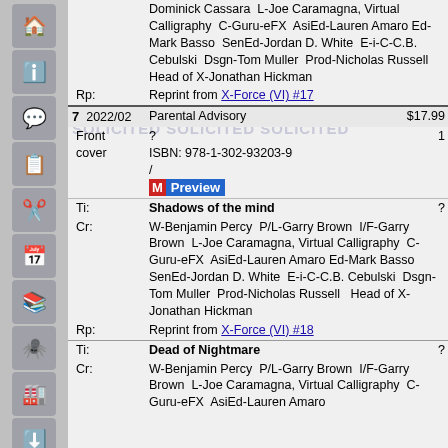Dominick Cassara  L-Joe Caramagna, Virtual Calligraphy  C-Guru-eFX  AsiEd-Lauren Amaro  Ed-Mark Basso  SenEd-Jordan D. White  E-i-C-C.B. Cebulski  Dsgn-Tom Muller  Prod-Nicholas Russell  Head of X-Jonathan Hickman
Rp: Reprint from X-Force (VI) #17
| 7 | 2022/02 | Parental Advisory | $17.99 |
| Front cover | ? |  | 1 |
|  | ISBN: 978-1-302-93203-9 / [Preview] |  |  |
| Ti: | Shadows of the mind |  | ? |
| Cr: | W-Benjamin Percy  P/L-Garry Brown  I/F-Garry Brown  L-Joe Caramagna, Virtual Calligraphy  C-Guru-eFX  AsiEd-Lauren Amaro  Ed-Mark Basso  SenEd-Jordan D. White  E-i-C-C.B. Cebulski  Dsgn-Tom Muller  Prod-Nicholas Russell  Head of X-Jonathan Hickman |  |  |
| Rp: | Reprint from X-Force (VI) #18 |  |  |
| Ti: | Dead of Nightmare |  | ? |
| Cr: | W-Benjamin Percy  P/L-Garry Brown  I/F-Garry Brown  L-Joe Caramagna, Virtual Calligraphy  C-Guru-eFX  AsiEd-Lauren Amaro |  |  |